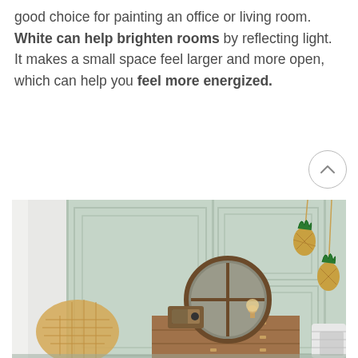good choice for painting an office or living room. White can help brighten rooms by reflecting light. It makes a small space feel larger and more open, which can help you feel more energized.
[Figure (photo): A styled living room interior with a mint green paneled wall, a round wood-framed mirror on a wooden dresser, a vintage radio, a rattan chair on the left, decorative hanging pineapples, and throw pillows visible on the right.]